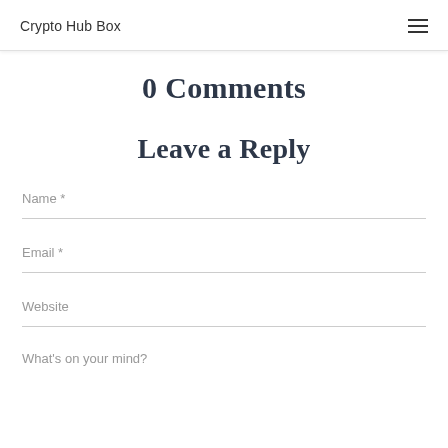Crypto Hub Box
0 Comments
Leave a Reply
Name *
Email *
Website
What's on your mind?